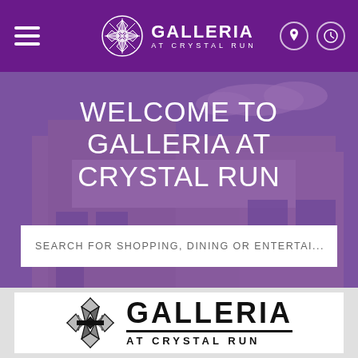Galleria at Crystal Run - navigation header with hamburger menu, logo, location and hours icons
WELCOME TO GALLERIA AT CRYSTAL RUN
SEARCH FOR SHOPPING, DINING OR ENTERTAI...
[Figure (logo): Galleria at Crystal Run logo with decorative snowflake/crystal emblem and text GALLERIA AT CRYSTAL RUN]